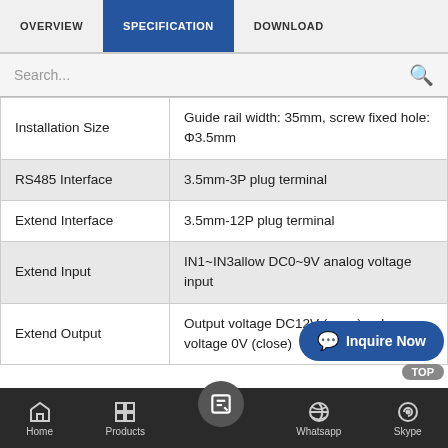OVERVIEW | SPECIFICATION | DOWNLOAD
Search...
| Parameter | Value |
| --- | --- |
| Installation Size | Guide rail width: 35mm, screw fixed hole: Φ3.5mm |
| RS485 Interface | 3.5mm-3P plug terminal |
| Extend Interface | 3.5mm-12P plug terminal |
| Extend Input | IN1~IN3 allow DC0~9V analog voltage input |
| Extend Output | Output voltage DC12V (open) or low voltage 0V (close) |
Home | Products | (center button) | Whatsapp | Skype